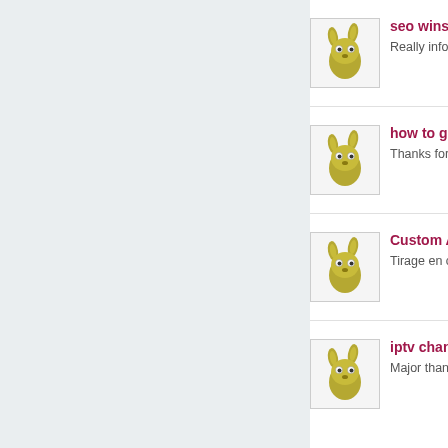[Figure (illustration): Light grey left panel background]
seo winsfor... | Really informativ...
how to get ... | Thanks for the a...
Custom Ai... | Tirage en croix d...
iptv chann... | Major thanks for...